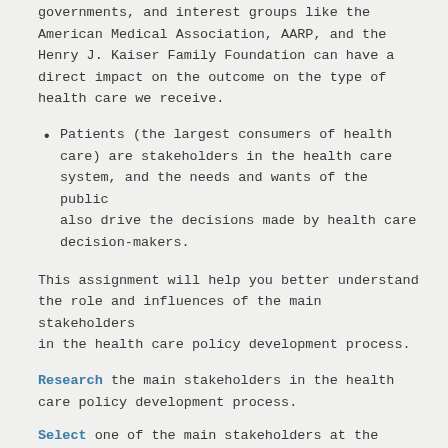governments, and interest groups like the American Medical Association, AARP, and the Henry J. Kaiser Family Foundation can have a direct impact on the outcome on the type of health care we receive.
Patients (the largest consumers of health care) are stakeholders in the health care system, and the needs and wants of the public also drive the decisions made by health care decision-makers.
This assignment will help you better understand the role and influences of the main stakeholders in the health care policy development process.
Research the main stakeholders in the health care policy development process.
Select one of the main stakeholders at the